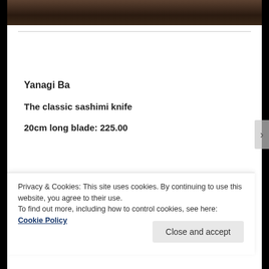[Figure (photo): Dark wood background image at top of page, partially visible]
Yanagi Ba
The classic sashimi knife
20cm long blade: 225.00
Privacy & Cookies: This site uses cookies. By continuing to use this website, you agree to their use.
To find out more, including how to control cookies, see here: Cookie Policy
Close and accept